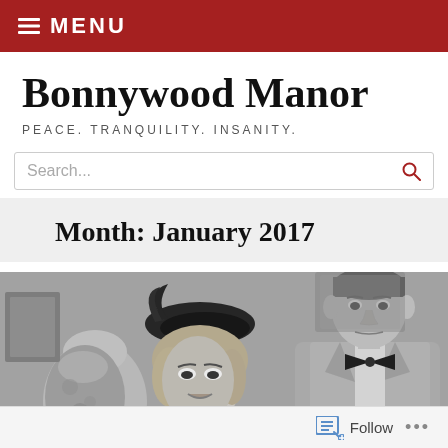≡ MENU
Bonnywood Manor
PEACE. TRANQUILITY. INSANITY.
Search...
Month: January 2017
[Figure (photo): Black and white vintage film still showing a woman in a beret/hat with feathered clothing looking downward, and a man in a suit with a bow tie looking at her, with decorative items in the background.]
Follow ...